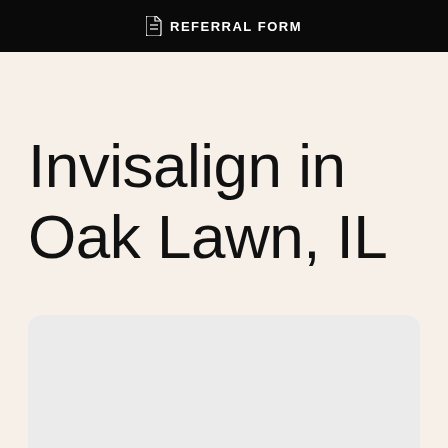REFERRAL FORM
Invisalign in Oak Lawn, IL
[Figure (other): Gray rounded rectangle placeholder card]